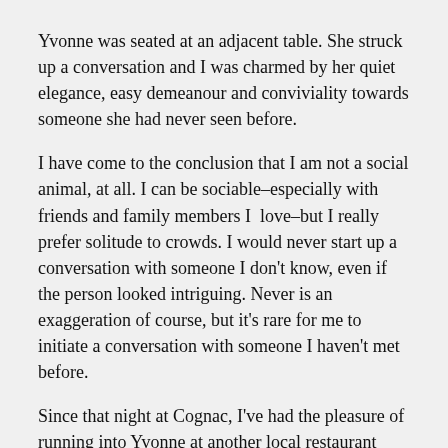Yvonne was seated at an adjacent table. She struck up a conversation and I was charmed by her quiet elegance, easy demeanour and conviviality towards someone she had never seen before.
I have come to the conclusion that I am not a social animal, at all. I can be sociable–especially with friends and family members I love–but I really prefer solitude to crowds. I would never start up a conversation with someone I don't know, even if the person looked intriguing. Never is an exaggeration of course, but it's rare for me to initiate a conversation with someone I haven't met before.
Since that night at Cognac, I've had the pleasure of running into Yvonne at another local restaurant about a week before Christmas and then, a couple of weeks ago, she came to my apartment for dinner.
This morning, she sent me a link to her latest blog post Yesterday Were National Grammar Day. (Somewhere among my numerous books in storage I have a copy of Woe is I, mentioned in the post.)